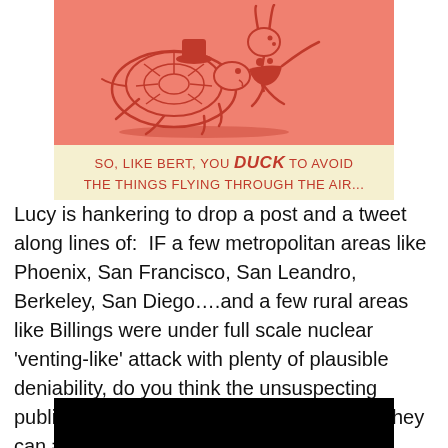[Figure (illustration): Vintage retro illustration on salmon/pink background showing a turtle with a child riding on its back, running with a rabbit, in red ink style. Below the illustration is a cream/yellow banner with text: 'SO, LIKE BERT, YOU DUCK TO AVOID THE THINGS FLYING THROUGH THE AIR...']
Lucy is hankering to drop a post and a tweet along lines of:  IF a few metropolitan areas like Phoenix, San Francisco, San Leandro, Berkeley, San Diego….and a few rural areas like Billings were under full scale nuclear 'venting-like' attack with plenty of plausible deniability, do you think the unsuspecting public might wanna know so that perhaps they can #ShelterInPlace while the perps are tracked down?
[Figure (photo): Black rectangle at the bottom of the page, appears to be a partially visible dark image.]